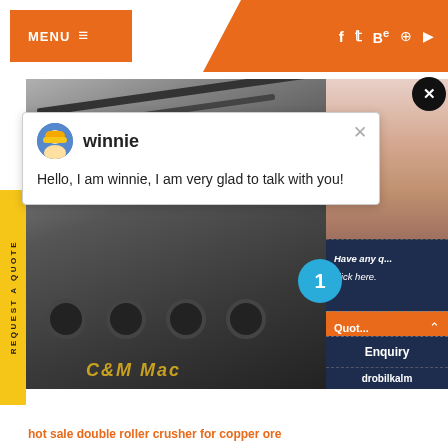[Figure (screenshot): Website screenshot showing orange navigation header with MENU button and social media icons (f, t, Be, pinterest, youtube). Below is a product page for industrial machinery (C&M Mac...) with a chat popup from 'winnie' saying 'Hello, I am winnie, I am very glad to talk with you!'. Right panel shows dark blue sidebar with Enquiry and Quote buttons, a blue badge with '1', and 'Have any ... click here.' text. Left side has yellow vertical tab 'REQUEST A QUOTE'. Bottom shows orange text 'hot sale double roller crusher for copper ore' and 'drobilkalm' in dark blue panel.]